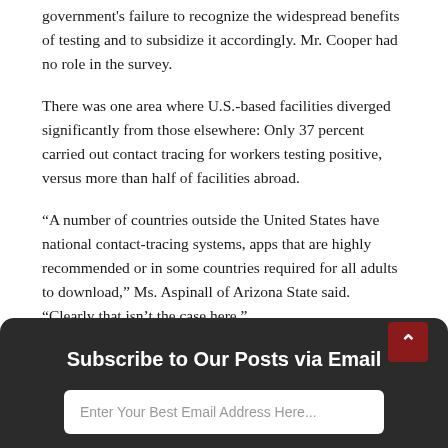government's failure to recognize the widespread benefits of testing and to subsidize it accordingly. Mr. Cooper had no role in the survey.
There was one area where U.S.-based facilities diverged significantly from those elsewhere: Only 37 percent carried out contact tracing for workers testing positive, versus more than half of facilities abroad.
“A number of countries outside the United States have national contact-tracing systems, apps that are highly recommended or in some countries required for all adults to download,” Ms. Aspinall of Arizona State said. “Clearly that isn’t the case here.”
Sarah Kliff contributed reporting.
Subscribe to Our Posts via Email
Enter Your Best Email Address Here...